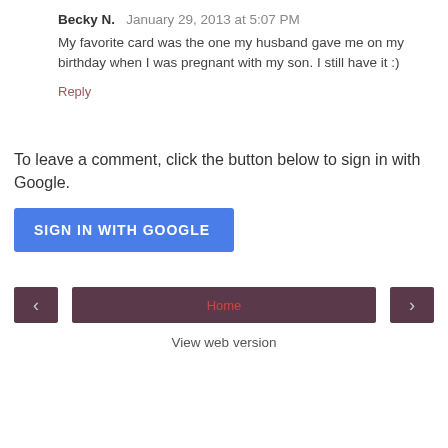Becky N.  January 29, 2013 at 5:07 PM
My favorite card was the one my husband gave me on my birthday when I was pregnant with my son. I still have it :)
Reply
To leave a comment, click the button below to sign in with Google.
SIGN IN WITH GOOGLE
Home
View web version